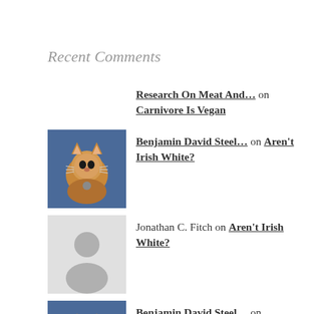Recent Comments
Research On Meat And… on Carnivore Is Vegan
Benjamin David Steel… on Aren't Irish White?
Jonathan C. Fitch on Aren't Irish White?
Benjamin David Steel… on Hyperobjects and Individuality
Lightness Traveling on Hyperobjects and Individuality
Benjamin David Steel… on Bundle Theory: Embodied Mind,…